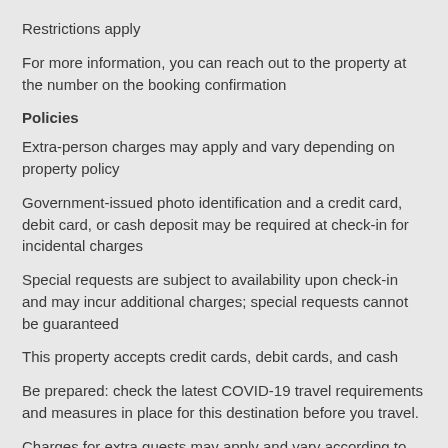Restrictions apply
For more information, you can reach out to the property at the number on the booking confirmation
Policies
Extra-person charges may apply and vary depending on property policy
Government-issued photo identification and a credit card, debit card, or cash deposit may be required at check-in for incidental charges
Special requests are subject to availability upon check-in and may incur additional charges; special requests cannot be guaranteed
This property accepts credit cards, debit cards, and cash
Be prepared: check the latest COVID-19 travel requirements and measures in place for this destination before you travel.
Charges for extra guests may apply and vary according to property policy.
A cash deposit, credit card, or debit card for incidental charges and government-issued photo identification may be required upon check-in.
Special requests are subject to availability at the time of check-in. Special requests can't be guaranteed and may incur additional charges.
This property accepts Visa, Mastercard, American Express, Diners Club.